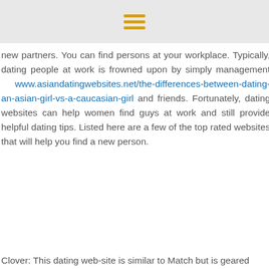≡
new partners. You can find persons at your workplace. Typically, dating people at work is frowned upon by simply management www.asiandatingwebsites.net/the-differences-between-dating-an-asian-girl-vs-a-caucasian-girl and friends. Fortunately, dating websites can help women find guys at work and still provide helpful dating tips. Listed here are a few of the top rated websites that will help you find a new person.
Clover: This dating web-site is similar to Match but is geared